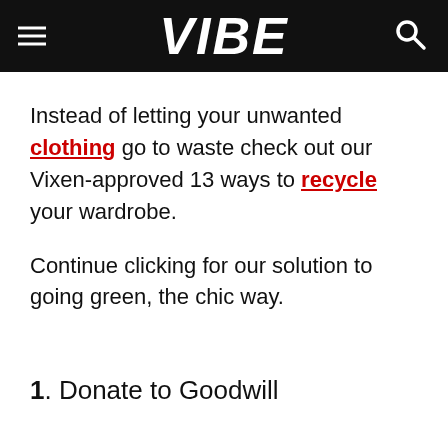VIBE
Instead of letting your unwanted clothing go to waste check out our Vixen-approved 13 ways to recycle your wardrobe.
Continue clicking for our solution to going green, the chic way.
1. Donate to Goodwill